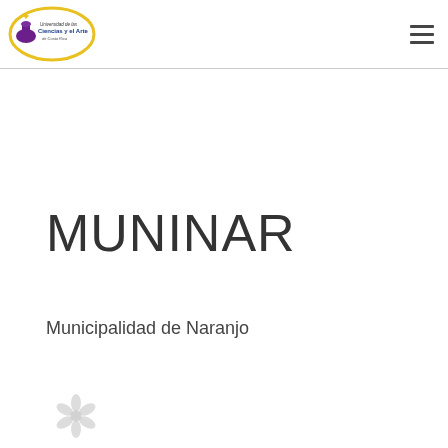[Figure (logo): Universidad de las Ciencias y el Arte de Costa Rica logo — oval shape with yellow border, purple bowl/flask icon and text]
[Figure (logo): Hamburger menu icon — three horizontal dark lines]
MUNINAR
Municipalidad de Naranjo
[Figure (logo): Small decorative logo or emblem at bottom left of page]